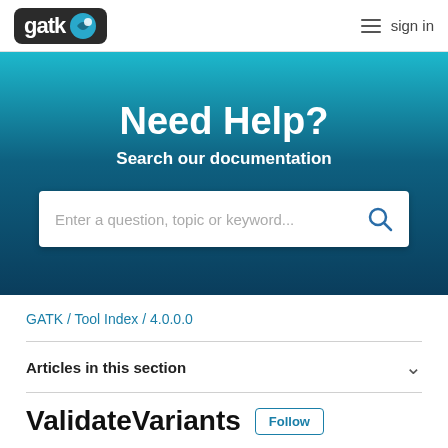gatk [logo] sign in
Need Help?
Search our documentation
[Figure (screenshot): Search input box with placeholder text 'Enter a question, topic or keyword...' and a search icon on the right]
GATK / Tool Index / 4.0.0.0
Articles in this section
ValidateVariants